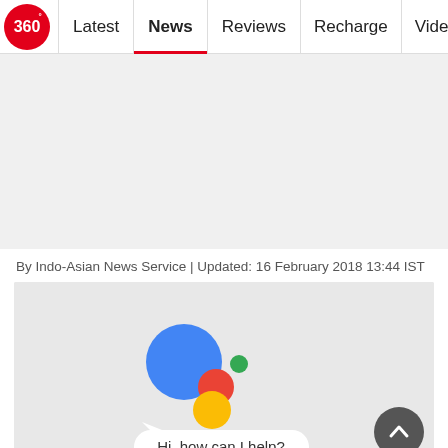360° | Latest | News | Reviews | Recharge | Videos | M
By Indo-Asian News Service | Updated: 16 February 2018 13:44 IST
[Figure (screenshot): Google Assistant interface showing four colored circles (blue, red, green, yellow) and a speech bubble saying 'Hi, how can I help?']